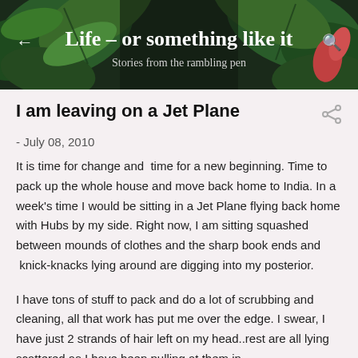Life - or something like it
Stories from the rambling pen
I am leaving on a Jet Plane
- July 08, 2010
It is time for change and  time for a new beginning. Time to pack up the whole house and move back home to India. In a week’s time I would be sitting in a Jet Plane flying back home with Hubs by my side. Right now, I am sitting squashed between mounds of clothes and the sharp book ends and  knick-knacks lying around are digging into my posterior.
I have tons of stuff to pack and do a lot of scrubbing and cleaning, all that work has put me over the edge. I swear, I have just 2 strands of hair left on my head..rest are all lying scattered as I have been pulling at them in